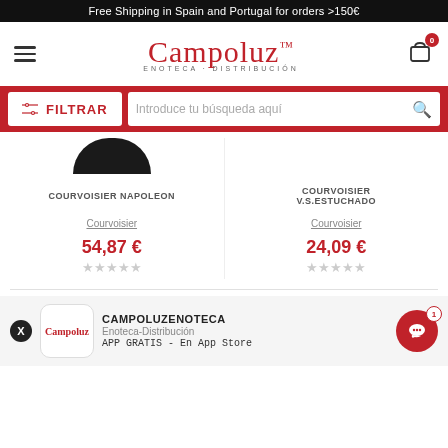Free Shipping in Spain and Portugal for orders >150€
[Figure (logo): Campoluz Enoteca-Distribución logo with hamburger menu and cart icon]
FILTRAR / Introduce tu búsqueda aquí
COURVOISIER NAPOLEON — Courvoisier — 54,87 €
COURVOISIER V.S.ESTUCHADO — Courvoisier — 24,09 €
CAMPOLUZENOTECA — Enoteca-Distribución — APP GRATIS - En App Store